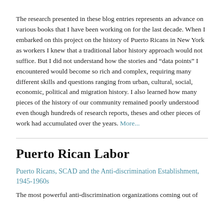The research presented in these blog entries represents an advance on various books that I have been working on for the last decade. When I embarked on this project on the history of Puerto Ricans in New York as workers I knew that a traditional labor history approach would not suffice. But I did not understand how the stories and "data points" I encountered would become so rich and complex, requiring many different skills and questions ranging from urban, cultural, social, economic, political and migration history. I also learned how many pieces of the history of our community remained poorly understood even though hundreds of research reports, theses and other pieces of work had accumulated over the years. More...
Puerto Rican Labor
Puerto Ricans, SCAD and the Anti-discrimination Establishment, 1945-1960s
The most powerful anti-discrimination organizations coming out of